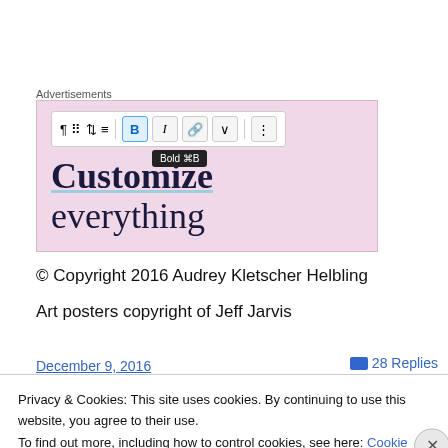Advertisements
[Figure (screenshot): WordPress block editor toolbar showing Bold button active with tooltip 'Bold ⌘B', and text 'Customize everything' in a pink/mauve background ad banner]
© Copyright 2016 Audrey Kletscher Helbling
Art posters copyright of Jeff Jarvis
December 9, 2016
28 Replies
Privacy & Cookies: This site uses cookies. By continuing to use this website, you agree to their use.
To find out more, including how to control cookies, see here: Cookie Policy
Close and accept